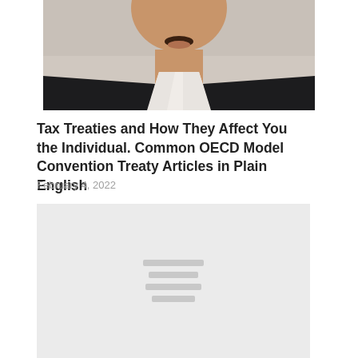[Figure (photo): Cropped photo of a person in a dark suit with a white collar shirt and mustache, photographed from chin downward; grey background visible at top.]
Tax Treaties and How They Affect You the Individual. Common OECD Model Convention Treaty Articles in Plain English
February 4, 2022
[Figure (other): Light grey placeholder box with four grey horizontal loading bars centered in the middle, representing a loading or placeholder image block.]